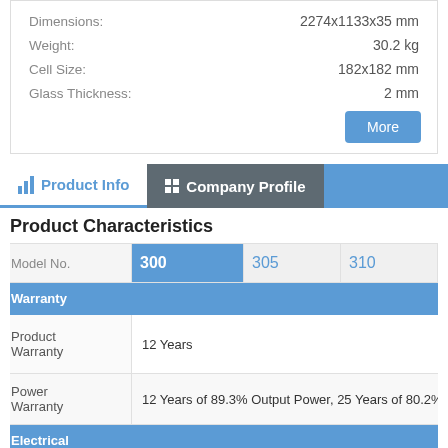|  |  |
| --- | --- |
| Dimensions: | 2274x1133x35 mm |
| Weight: | 30.2 kg |
| Cell Size: | 182x182 mm |
| Glass Thickness: | 2 mm |
More
Product Info | Company Profile
Product Characteristics
| Model No. | 300 | 305 | 310 | 315 |
| --- | --- | --- | --- | --- |
| Warranty |  |  |  |  |
| Product Warranty | 12 Years |  |  |  |
| Power Warranty | 12 Years of 89.3% Output Power, 25 Years of 80.2% Out |  |  |  |
| Electrical |  |  |  |  |